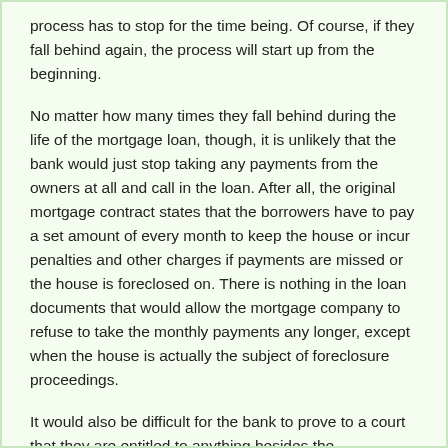process has to stop for the time being. Of course, if they fall behind again, the process will start up from the beginning.
No matter how many times they fall behind during the life of the mortgage loan, though, it is unlikely that the bank would just stop taking any payments from the owners at all and call in the loan. After all, the original mortgage contract states that the borrowers have to pay a set amount of every month to keep the house or incur penalties and other charges if payments are missed or the house is foreclosed on. There is nothing in the loan documents that would allow the mortgage company to refuse to take the monthly payments any longer, except when the house is actually the subject of foreclosure proceedings.
It would also be difficult for the bank to prove to a court that they are entitled to anything besides the homeowners' monthly payments if they can make them on time and pay back any amount they have fallen behind. Just because they may have fallen behind in the past does not mean that the bank can just give up on the loan completely and stop accepting even on time payments – as long as the homeowners made up the payments later on, the lender got everything it was due, plus a lot of accrued interest, late fees, court costs, and other charges.